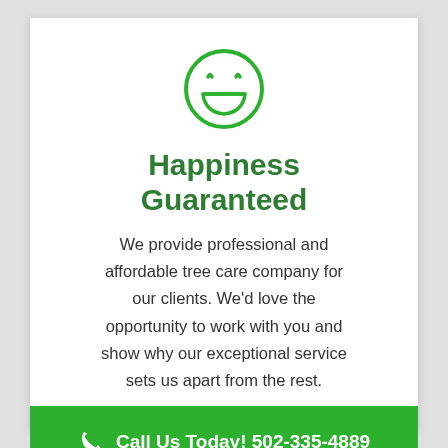[Figure (illustration): Green smiley face icon — circle outline with two squinting/happy eyes and a wide open smile]
Happiness Guaranteed
We provide professional and affordable tree care company for our clients. We'd love the opportunity to work with you and show why our exceptional service sets us apart from the rest.
Call Us Today! 502-335-4889